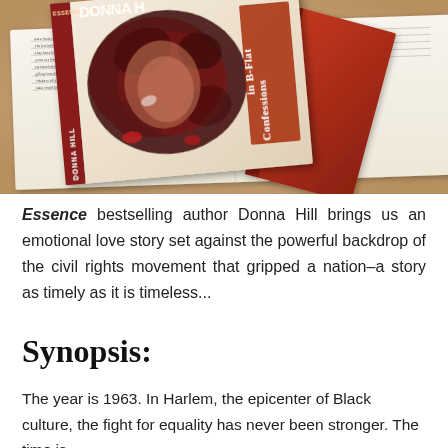[Figure (photo): Photograph of a book titled 'Confessions in B-Flat' by Donna Hill (Essence bestselling author). The book cover features a face partially obscured by dark red/maroon splatter against a light background, with the title in white text on the right side. The book is shown lying open on other books and papers.]
Essence bestselling author Donna Hill brings us an emotional love story set against the powerful backdrop of the civil rights movement that gripped a nation–a story as timely as it is timeless...
Synopsis:
The year is 1963. In Harlem, the epicenter of Black culture, the fight for equality has never been stronger. The time is